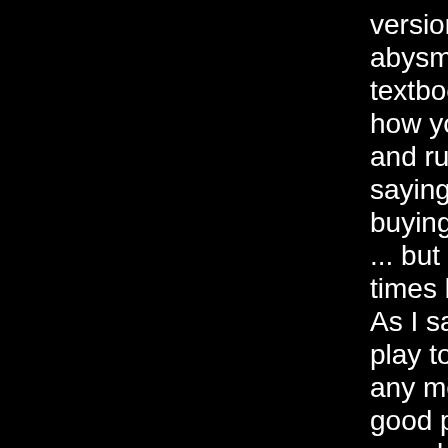version of Water is] abysmal. It's a textbook example of how you buy a play and ruin it. I'm not saying they were buying Born Yesterday ... but I did it a hundred times better [later on]. As I say, it's not a great play to begin with by any means. Not even a good play. But it's ... an easy laugh vehicle. If you're ready to suspend your critical judgment, it's an evening of laughs, even if the PTA is doing it ... Both the